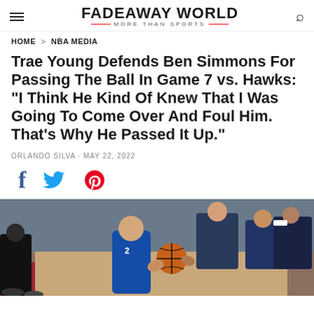FADEAWAY WORLD · MORE THAN SPORTS
HOME > NBA MEDIA
Trae Young Defends Ben Simmons For Passing The Ball In Game 7 vs. Hawks: "I Think He Kind Of Knew That I Was Going To Come Over And Foul Him. That's Why He Passed It Up."
ORLANDO SILVA · MAY 22, 2022
[Figure (other): Social media share icons: Facebook (f), Twitter (bird), Pinterest (P)]
[Figure (photo): Basketball player in blue Philadelphia 76ers uniform handling a basketball on the court, spectators and staff visible in background]